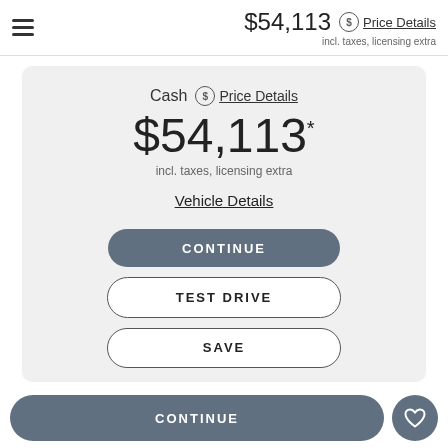$54,113 Price Details incl. taxes, licensing extra
Cash Price Details
$54,113*
incl. taxes, licensing extra
Vehicle Details
CONTINUE
TEST DRIVE
SAVE
CONTINUE